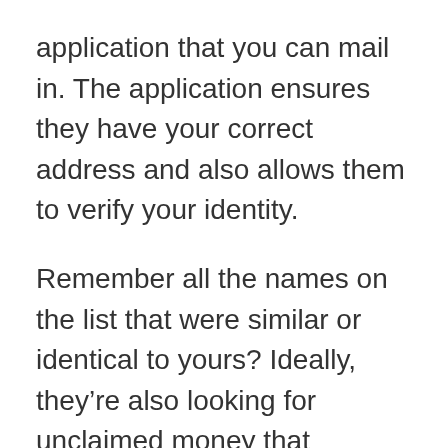application that you can mail in. The application ensures they have your correct address and also allows them to verify your identity.
Remember all the names on the list that were similar or identical to yours? Ideally, they're also looking for unclaimed money that belongs to them, and the state wants to make sure it's giving the property to the right person. You have to prove that you're the rightful owner or heir of the property, so be prepared to provide identifying information like your name and Social Security number, address, phone number, and a list of where you have lived for the last three years. The state may also ask you to